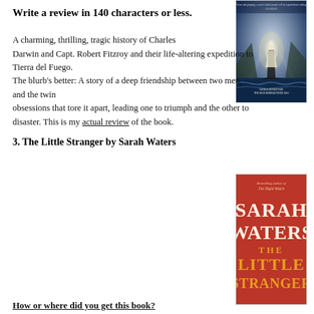Write a review in 140 characters or less.
[Figure (photo): Book cover image with ship on blue/stormy sea background, longlisted for the Man Booker Prize 2003]
A charming, thrilling, tragic history of Charles Darwin and Capt. Robert Fitzroy and their life-altering expedition to Tierra del Fuego. The blurb's better: A story of a deep friendship between two men, and the twin obsessions that tore it apart, leading one to triumph and the other to disaster. This is my actual review of the book.
[Figure (photo): Book cover: Sarah Waters - The Little Stranger, red cover with large gold and white lettering, bestselling author of The Night Watch]
3. The Little Stranger by Sarah Waters
How or where did you get this book?